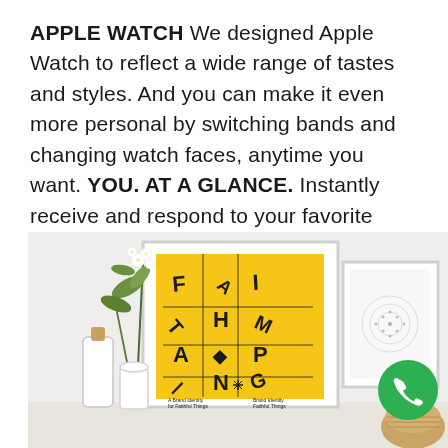APPLE WATCH We designed Apple Watch to reflect a wide range of tastes and styles. And you can make it even more personal by switching bands and changing watch faces, anytime you want. YOU. AT A GLANCE. Instantly receive and respond to your favorite notifications.... Read More »
[Figure (photo): Interior room scene with white framed poster on wall showing yellow background with scattered letters 'F A I T H A R P I N G', alongside a plant with white flowers in a white vase, a cork-stoppered bottle, and another framed artwork with a circular dot pattern. A green phone/call button icon appears in the lower right corner.]